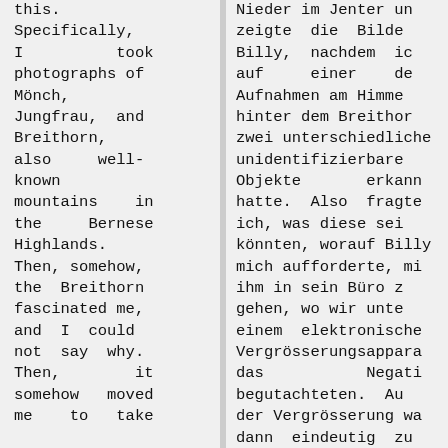this. Specifically, I took photographs of Mönch, Jungfrau, and Breithorn, also well-known mountains in the Bernese Highlands. Then, somehow, the Breithorn fascinated me, and I could not say why. Then, it somehow moved me to take
Nieder im Jenter und zeigte die Bilder Billy, nachdem ich auf einer der Aufnahmen am Himmel hinter dem Breithorn zwei unterschiedliche unidentifizierbare Objekte erkannt hatte. Also fragte ich, was diese sein könnten, worauf Billy mich aufforderte, mit ihm in sein Büro zu gehen, wo wir unter einem elektronischen Vergrösserungsapparat das Negativ begutachteten. Auf der Vergrösserung war dann eindeutig zu